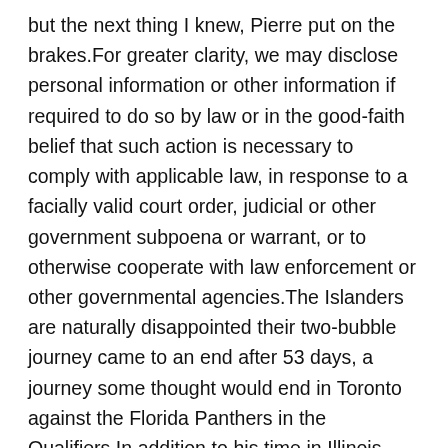but the next thing I knew, Pierre put on the brakes.For greater clarity, we may disclose personal information or other information if required to do so by law or in the good-faith belief that such action is necessary to comply with applicable law, in response to a facially valid court order, judicial or other government subpoena or warrant, or to otherwise cooperate with law enforcement or other governmental agencies.The Islanders are naturally disappointed their two-bubble journey came to an end after 53 days, a journey some thought would end in Toronto against the Florida Panthers in the Qualifiers.In addition to his time in Illinois, Josh has also worked as a sports anchor reporter at WENY-TV and radio update anchor at 1410 WELM ESPN Radio in Elmira, New York, and served as a member of the on-site production team during NBC's coverage of Men's and Women's Ice Hockey at the 2010 Winter Olympics in